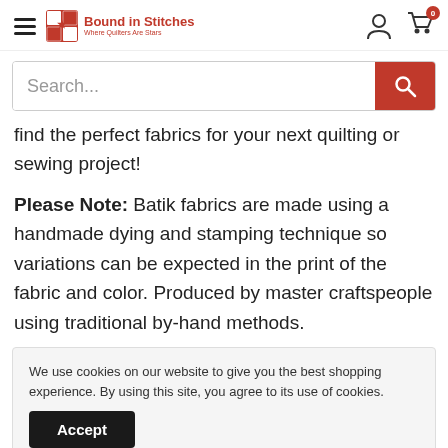Bound in Stitches — Where Quilters Are Stars (navigation header with search bar)
find the perfect fabrics for your next quilting or sewing project!
Please Note: Batik fabrics are made using a handmade dying and stamping technique so variations can be expected in the print of the fabric and color. Produced by master craftspeople using traditional by-hand methods.
We use cookies on our website to give you the best shopping experience. By using this site, you agree to its use of cookies.